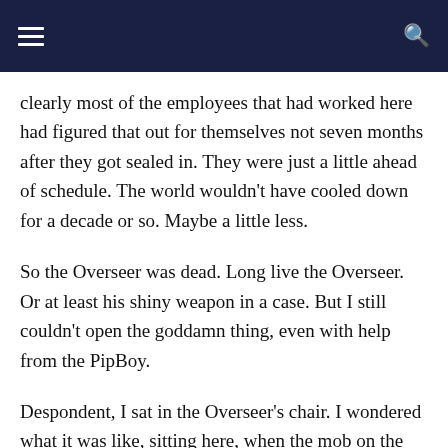navigation header with hamburger menu and search icon
clearly most of the employees that had worked here had figured that out for themselves not seven months after they got sealed in. They were just a little ahead of schedule. The world wouldn't have cooled down for a decade or so. Maybe a little less.
So the Overseer was dead. Long live the Overseer. Or at least his shiny weapon in a case. But I still couldn't open the goddamn thing, even with help from the PipBoy.
Despondent, I sat in the Overseer's chair. I wondered what it was like, sitting here, when the mob on the other side of the door at the end of the room was screaming for him to let them out. He was sitting here